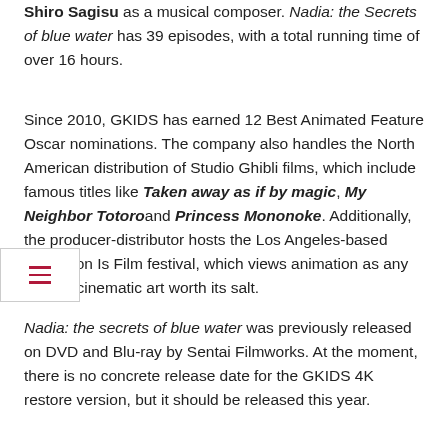Shiro Sagisu as a musical composer. Nadia: the Secrets of blue water has 39 episodes, with a total running time of over 16 hours.
Since 2010, GKIDS has earned 12 Best Animated Feature Oscar nominations. The company also handles the North American distribution of Studio Ghibli films, which include famous titles like Taken away as if by magic, My Neighbor Totoro and Princess Mononoke. Additionally, the producer-distributor hosts the Los Angeles-based Animation Is Film festival, which views animation as any form of cinematic art worth its salt.
Nadia: the secrets of blue water was previously released on DVD and Blu-ray by Sentai Filmworks. At the moment, there is no concrete release date for the GKIDS 4K restore version, but it should be released this year.